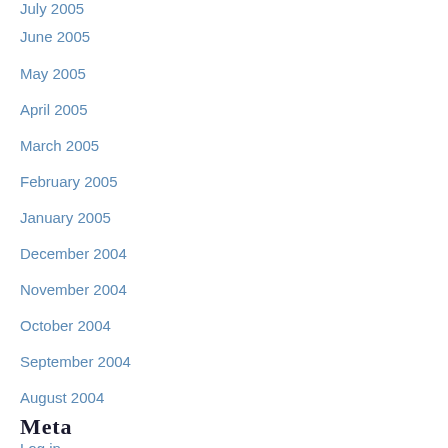July 2005
June 2005
May 2005
April 2005
March 2005
February 2005
January 2005
December 2004
November 2004
October 2004
September 2004
August 2004
Meta
Log in